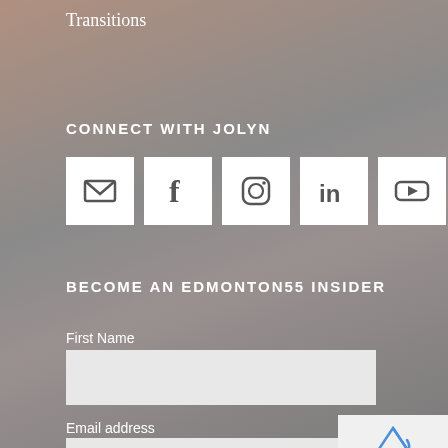Transitions
CONNECT WITH JOLYN
[Figure (illustration): Five social media icon boxes: email (envelope), Facebook, Instagram, LinkedIn, YouTube]
BECOME AN EDMONTON55 INSIDER
First Name
Email address
[Figure (other): Google reCAPTCHA widget with logo and Privacy - Terms text]